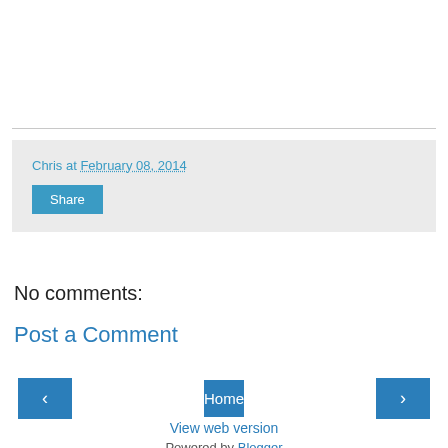Chris at February 08, 2014
Share
No comments:
Post a Comment
‹
Home
›
View web version
Powered by Blogger